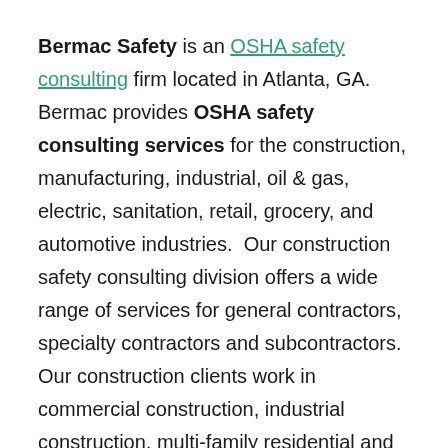Bermac Safety is an OSHA safety consulting firm located in Atlanta, GA. Bermac provides OSHA safety consulting services for the construction, manufacturing, industrial, oil & gas, electric, sanitation, retail, grocery, and automotive industries. Our construction safety consulting division offers a wide range of services for general contractors, specialty contractors and subcontractors. Our construction clients work in commercial construction, industrial construction, multi-family residential and single-family residential construction. Our OSHA training courses are highly engaging and students who take our courses report that the training they have received with Bermac is